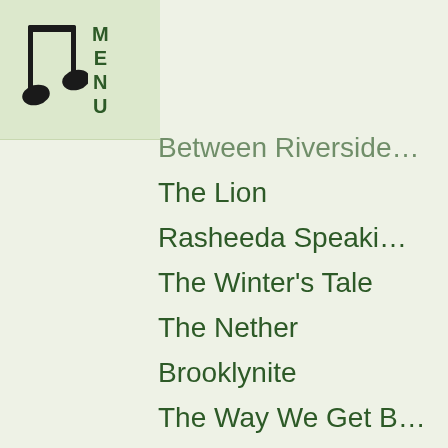MENU
Between Riverside… (truncated)
The Lion
Rasheeda Speaki…
The Winter's Tale
The Nether
Brooklynite
The Way We Get B…
The Spoils
Gloria
Significant Other
The Tempest (Sha…
Cymbelline (Shake…
Whorl Inside a Loc…
Mercury War